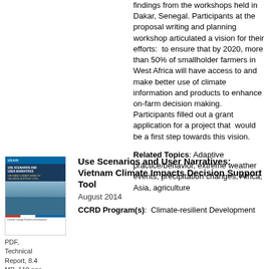findings from the workshops held in Dakar, Senegal. Participants at the proposal writing and planning workshop articulated a vision for their efforts:  to ensure that by 2020, more than 50% of smallholder farmers in West Africa will have access to and make better use of climate information and products to enhance on-farm decision making. Participants filled out a grant application for a project that  would be a first step towards this vision.
Related Topics: Adaptive practice/behavior, extreme weather events, precipitation changes, Africa, Asia, agriculture
[Figure (illustration): Thumbnail cover image of a USAID document titled 'Use Scenarios and User Narratives: Vietnam Climate Impacts Decision Support Tool']
PDF, Technical Report, 8.4 MB, 110 pps
Use Scenarios and User Narratives: Vietnam Climate Impacts Decision Support Tool
August 2014
CCRD Program(s):  Climate-resilient Development